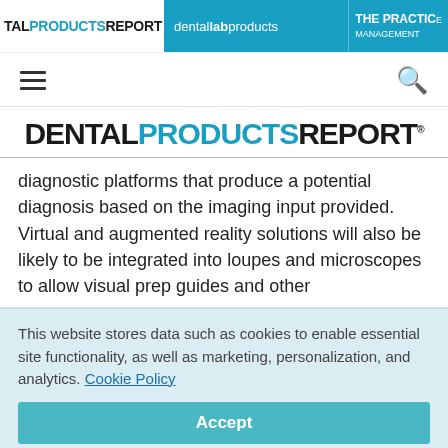TAL PRODUCTS REPORT | dental lab products | THE PRACTICE MANAGEMENT
[Figure (logo): Dental Products Report logo and navigation bar with hamburger menu and search icon]
DENTAL PRODUCTS REPORT
diagnostic platforms that produce a potential diagnosis based on the imaging input provided. Virtual and augmented reality solutions will also be likely to be integrated into loupes and microscopes to allow visual prep guides and other
This website stores data such as cookies to enable essential site functionality, as well as marketing, personalization, and analytics. Cookie Policy
Accept
Deny